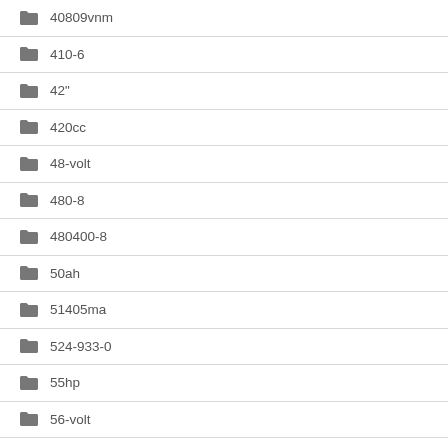40809vnm
410-6
42"
420cc
48-volt
480-8
480400-8
50ah
51405ma
524-933-0
55hp
56-volt
60-volt